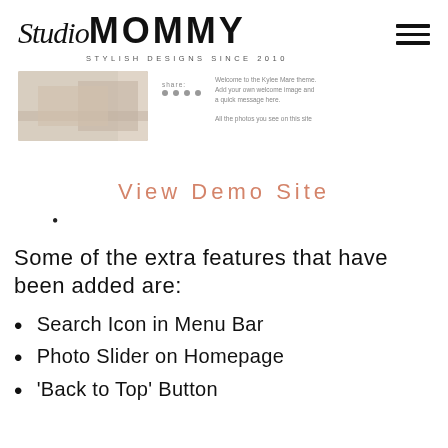Studio MOMMY — STYLISH DESIGNS SINCE 2010
[Figure (screenshot): Website preview screenshot showing a blog post image on the left and welcome text on the right]
View Demo Site
Some of the extra features that have been added are:
Search Icon in Menu Bar
Photo Slider on Homepage
'Back to Top' Button